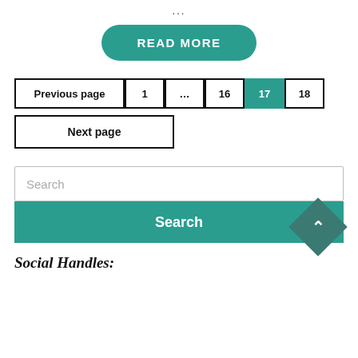...
READ MORE
Previous page  1  ...  16  17  18
Next page
Search
Search
Social Handles: